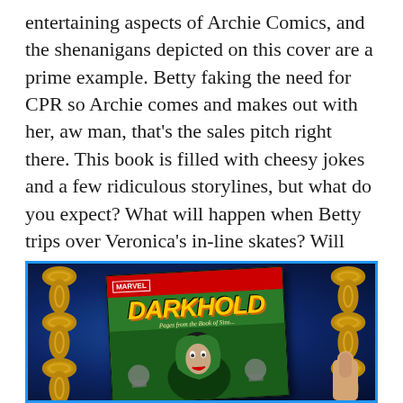entertaining aspects of Archie Comics, and the shenanigans depicted on this cover are a prime example. Betty faking the need for CPR so Archie comes and makes out with her, aw man, that's the sales pitch right there. This book is filled with cheesy jokes and a few ridiculous storylines, but what do you expect? What will happen when Betty trips over Veronica's in-line skates? Will Betty sue Veronica for real or is this just a ludicrous misunderstanding? You must read it to find out!
[Figure (photo): A photo of a Marvel Darkhold: Pages from the Book of Sins comic book being held up against a dark blue cosmic background with chains on either side. A thumb is visible at the right edge.]